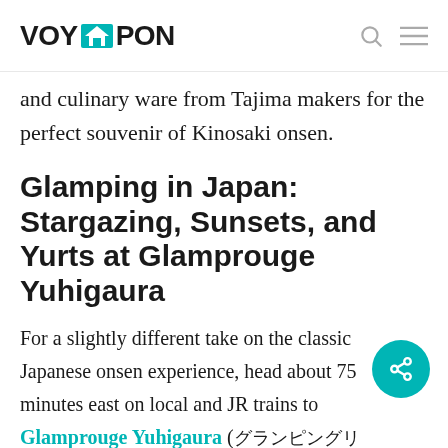VOYAPON
and culinary ware from Tajima makers for the perfect souvenir of Kinosaki onsen.
Glamping in Japan: Stargazing, Sunsets, and Yurts at Glamprouge Yuhigaura
For a slightly different take on the classic Japanese onsen experience, head about 75 minutes east on local and JR trains to Glamprouge Yuhigaura (グランピングリゾート). If you're not a